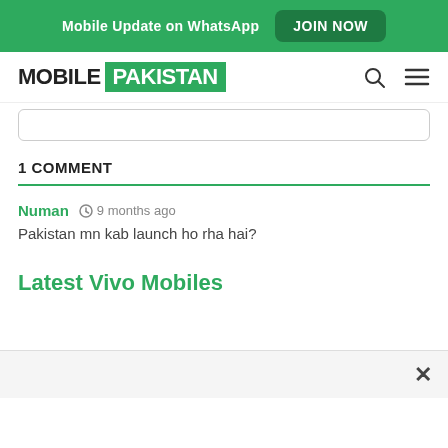Mobile Update on WhatsApp  JOIN NOW
[Figure (logo): Mobile Pakistan logo with search and menu icons]
[Figure (screenshot): Search bar input field]
1 COMMENT
Numan  9 months ago
Pakistan mn kab launch ho rha hai?
Latest Vivo Mobiles
[Figure (screenshot): Bottom bar with close (x) button]